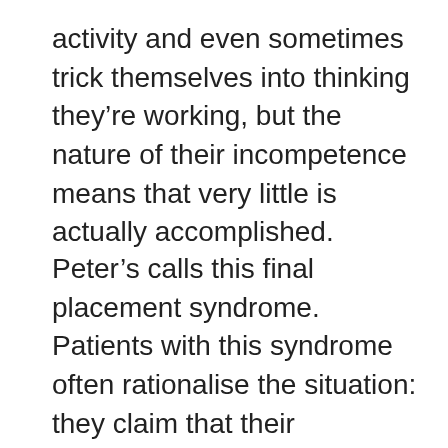activity and even sometimes trick themselves into thinking they're working, but the nature of their incompetence means that very little is actually accomplished.
Peter's calls this final placement syndrome. Patients with this syndrome often rationalise the situation: they claim that their occupational incompetence is because of things like physical ailments. They might state “If I could only get rid of my headaches, I could concentrate on my work”.